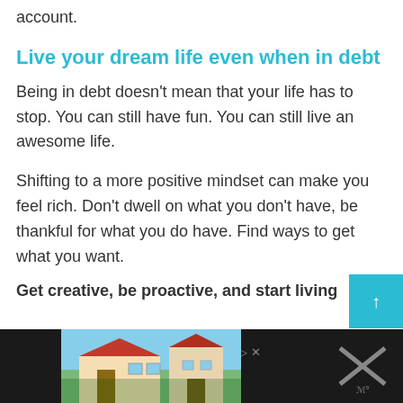account.
Live your dream life even when in debt
Being in debt doesn't mean that your life has to stop. You can still have fun. You can still live an awesome life.
Shifting to a more positive mindset can make you feel rich. Don't dwell on what you don't have, be thankful for what you do have. Find ways to get what you want. Get creative, be proactive, and start living
[Figure (photo): Advertisement banner at bottom showing a house/vacation property image with dark background and logo]